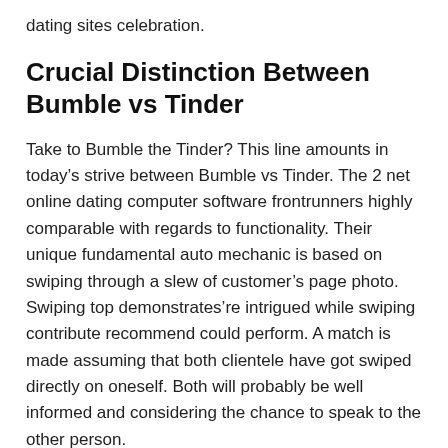dating sites celebration.
Crucial Distinction Between Bumble vs Tinder
Take to Bumble the Tinder? This line amounts in today’s strive between Bumble vs Tinder. The 2 net online dating computer software frontrunners highly comparable with regards to functionality. Their unique fundamental auto mechanic is based on swiping through a slew of customer’s page photo. Swiping top demonstrates’re intrigued while swiping contribute recommend could perform. A match is made assuming that both clientele have got swiped directly on oneself. Both will probably be well informed and considering the chance to speak to the other person.
Right here can come the largest distinction between the 2. On Bumble, women are anticipated to get the original step and commence the discussion. Whereas either get together can e-